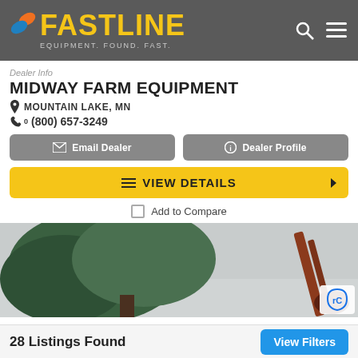FASTLINE — EQUIPMENT. FOUND. FAST.
Dealer Info
MIDWAY FARM EQUIPMENT
MOUNTAIN LAKE, MN
(800) 657-3249
Email Dealer
Dealer Profile
VIEW DETAILS
Add to Compare
[Figure (photo): Outdoor photo showing a tree against a grey sky and a piece of farm equipment (auger/conveyor) visible on the right side]
28 Listings Found
View Filters